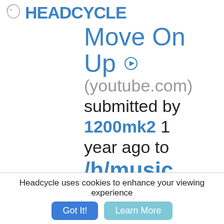HEADCYCLE
Move On Up ▶ (youtube.com)
submitted by 1200mk2 1 year ago to /h/music
Headcycle uses cookies to enhance your viewing experience